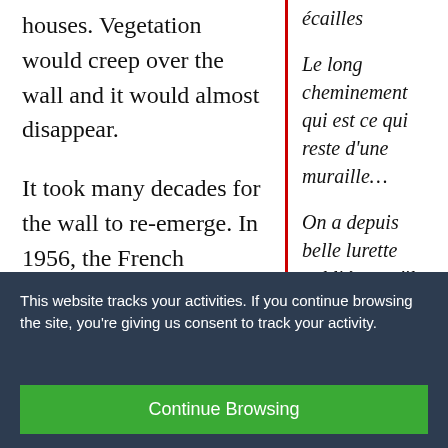houses. Vegetation would creep over the wall and it would almost disappear.
It took many decades for the wall to re-emerge. In 1956, the French
écailles

Le long cheminement qui est ce qui reste d'une muraille…

On a depuis belle lurette oublié ce qu'il délimite
This website tracks your activities. If you continue browsing the site, you're giving us consent to track your activity.
Continue Browsing